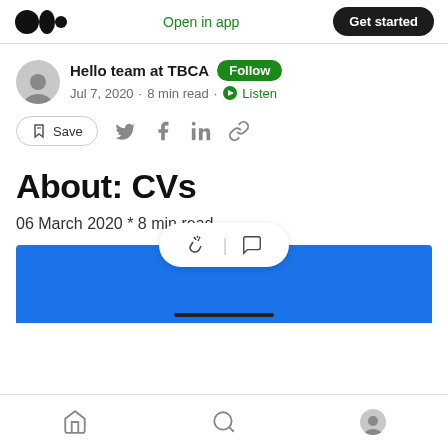Medium logo | Open in app | Get started
Hello team at TBCA · Follow · Jul 7, 2020 · 8 min read · Listen
Save (share icons)
About: CVs
06 March 2020 * 8 min read
[Figure (screenshot): Blue article header image partially visible at bottom]
Bottom navigation: Home, Search, Profile